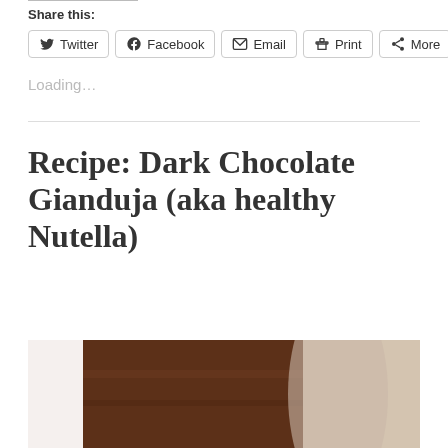Share this:
Twitter  Facebook  Email  Print  More
Loading…
Recipe: Dark Chocolate Gianduja (aka healthy Nutella)
[Figure (photo): Close-up photo of dark chocolate gianduja spread in a white bowl, showing smooth dark brown chocolate texture with a white ceramic edge]